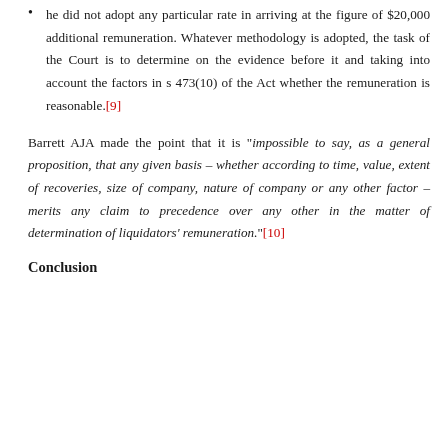he did not adopt any particular rate in arriving at the figure of $20,000 additional remuneration. Whatever methodology is adopted, the task of the Court is to determine on the evidence before it and taking into account the factors in s 473(10) of the Act whether the remuneration is reasonable.[9]
Barrett AJA made the point that it is "impossible to say, as a general proposition, that any given basis – whether according to time, value, extent of recoveries, size of company, nature of company or any other factor – merits any claim to precedence over any other in the matter of determination of liquidators' remuneration."[10]
Conclusion